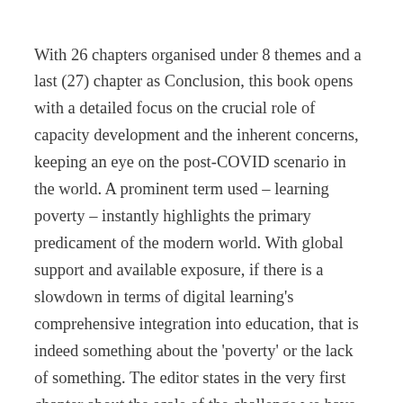With 26 chapters organised under 8 themes and a last (27) chapter as Conclusion, this book opens with a detailed focus on the crucial role of capacity development and the inherent concerns, keeping an eye on the post-COVID scenario in the world. A prominent term used – learning poverty – instantly highlights the primary predicament of the modern world. With global support and available exposure, if there is a slowdown in terms of digital learning's comprehensive integration into education, that is indeed something about the 'poverty' or the lack of something. The editor states in the very first chapter about the scale of the challenge we have at hand:
Children in fragile, conflict-affected countries are